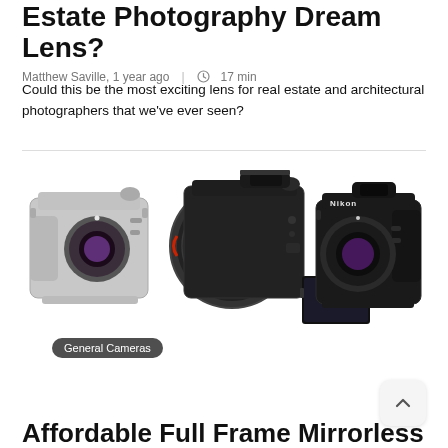Estate Photography Dream Lens?
Matthew Saville, 1 year ago  |  17 min
Could this be the most exciting lens for real estate and architectural photographers that we've ever seen?
[Figure (photo): Three mirrorless cameras side by side on white background: Sony APS-C silver body (left), full-frame black body with large lens and tilting screen (center), Nikon full-frame black body (right). Label reads 'General Cameras'.]
Affordable Full Frame Mirrorless